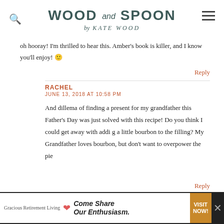WOOD and SPOON by KATE WOOD
oh hooray! I'm thrilled to hear this. Amber's book is killer, and I know you'll enjoy! 🙂
Reply
RACHEL
JUNE 13, 2018 AT 10:58 PM
And dillema of finding a present for my grandfather this Father's Day was just solved with this recipe! Do you think I could get away with addi g a little bourbon to the filling? My Grandfather loves bourbon, but don't want to overpower the pie
Reply